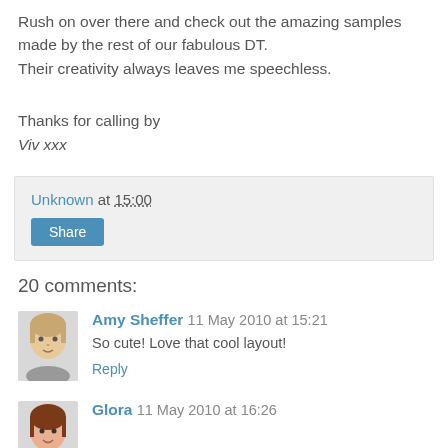Rush on over there and check out the amazing samples made by the rest of our fabulous DT.
Their creativity always leaves me speechless.
Thanks for calling by
Viv xxx
Unknown at 15:00
Share
20 comments:
Amy Sheffer 11 May 2010 at 15:21
So cute! Love that cool layout!
Reply
Glora 11 May 2010 at 16:26